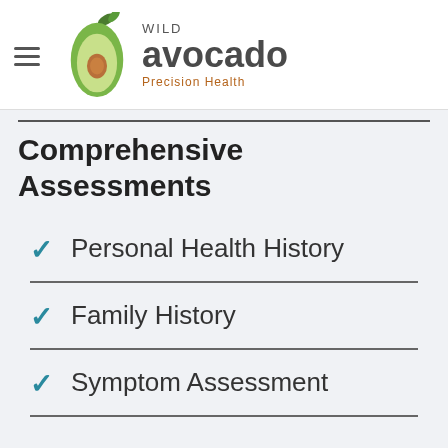Wild Avocado Precision Health
Comprehensive Assessments
Personal Health History
Family History
Symptom Assessment